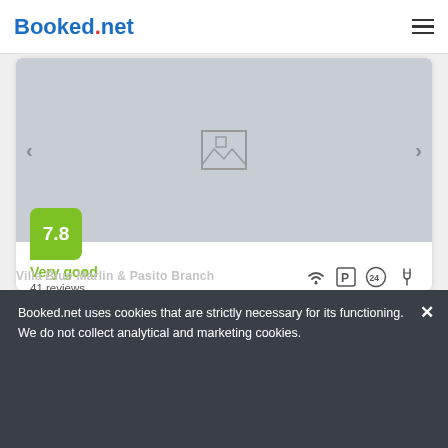Booked.net
[Figure (screenshot): Hotel/apartment listing image placeholder with gray background, image icon in center, left and right navigation arrows]
7.8
Very good
41 reviews
Boasting a sunny patio with barbeque, the apartment lies within 1450 meters from Museo Canario de Meteoritos in the...
from us$ 102/night
SELECT
Booked.net uses cookies that are strictly necessary for its functioning. We do not collect analytical and marketing cookies.